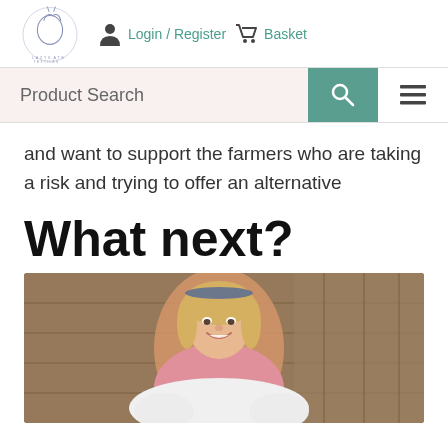LazyKate Textiles logo | Login / Register | Basket
Product Search
and want to support the farmers who are taking a risk and trying to offer an alternative
What next?
[Figure (photo): Smiling blonde woman holding a large bundle of white wool fleece, standing in a barn setting with wooden walls behind her.]